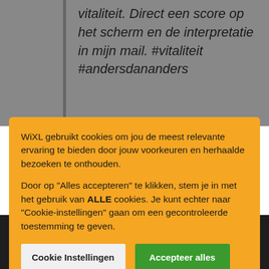vitaliteit. Direct een score op het scherm en de interpretatie in mijn mail. #vitaliteit #andersdananders
WiXL gebruikt cookies om jou de meest relevante ervaring te bieden door jouw voorkeuren en herhaalde bezoeken te onthouden.
Door op "Alles accepteren" te klikken, stem je in met het gebruik van ALLE cookies. Je kunt echter naar "Cookie-instellingen" gaan om een gecontroleerde toestemming te geven.
Cookie Instellingen
Accepteer alles
Copyright © 2022 WiXL